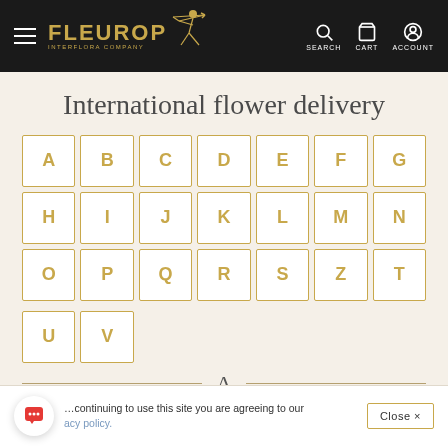FLEUROP INTERFLORA COMPANY — SEARCH CART ACCOUNT
International flower delivery
A
B
C
D
E
F
G
H
I
J
K
L
M
N
O
P
Q
R
S
Z
T
U
V
A
By continuing to use this site you are agreeing to our privacy policy. Close ×